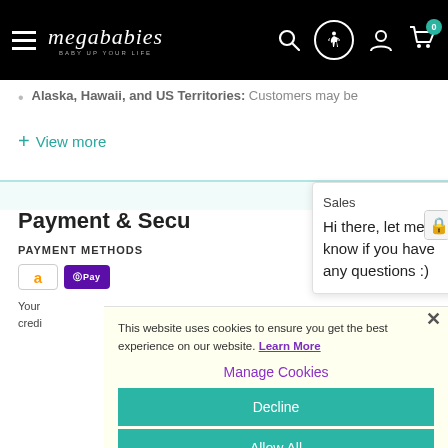megababies — navigation header with hamburger menu, logo, search, accessibility, account, and cart icons
Alaska, Hawaii, and US Territories: Customers may be
+ View more
Sales
Hi there, let me know if you have any questions :)
Payment & Security
PAYMENT METHODS
This website uses cookies to ensure you get the best experience on our website. Learn More
Manage Cookies
Decline
Allow All